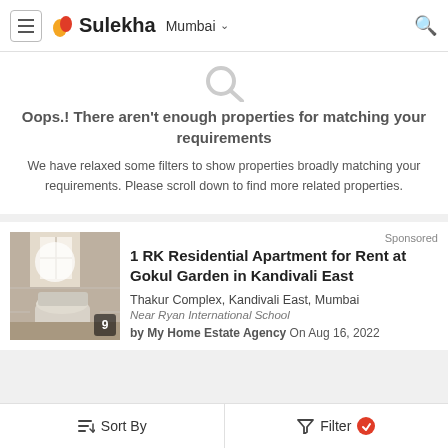Sulekha — Mumbai
Oops.! There aren't enough properties for matching your requirements
We have relaxed some filters to show properties broadly matching your requirements. Please scroll down to find more related properties.
Sponsored
1 RK Residential Apartment for Rent at Gokul Garden in Kandivali East
Thakur Complex, Kandivali East, Mumbai
Near Ryan International School
by My Home Estate Agency On Aug 16, 2022
Sort By   Filter